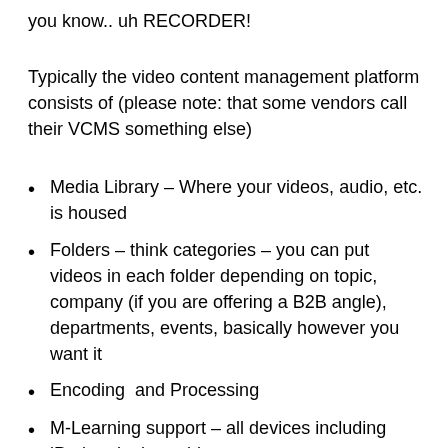you know.. uh RECORDER!
Typically the video content management platform consists of (please note: that some vendors call their VCMS something else)
Media Library – Where your videos, audio, etc. is housed
Folders – think categories – you can put videos in each folder depending on topic, company (if you are offering a B2B angle), departments, events, basically however you want it
Encoding  and Processing
M-Learning support – all devices including iPad and other tablets
Can interface with learning management systems –